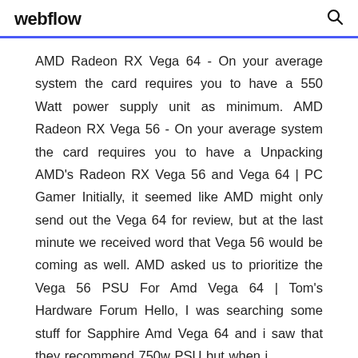webflow
AMD Radeon RX Vega 64 - On your average system the card requires you to have a 550 Watt power supply unit as minimum. AMD Radeon RX Vega 56 - On your average system the card requires you to have a Unpacking AMD's Radeon RX Vega 56 and Vega 64 | PC Gamer Initially, it seemed like AMD might only send out the Vega 64 for review, but at the last minute we received word that Vega 56 would be coming as well. AMD asked us to prioritize the Vega 56 PSU For Amd Vega 64 | Tom's Hardware Forum Hello, I was searching some stuff for Sapphire Amd Vega 64 and i saw that they recommend 750w PSU but when i